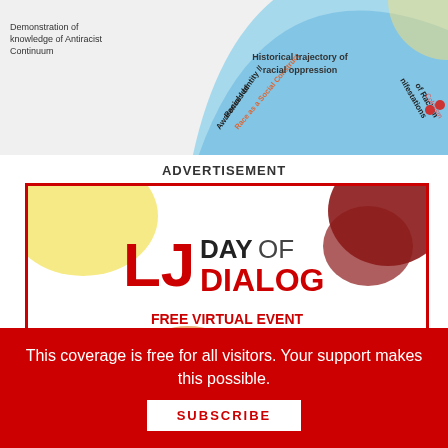[Figure (infographic): Partial view of a circular diagram about Antiracist Continuum showing segments labeled: Demonstration of knowledge of Antiracist Continuum, Awareness of Racial Identity as a Social Construct, Historical trajectory of racial oppression, Manifestations of Racism, Colorism. Curved blue and light-blue arcs visible.]
ADVERTISEMENT
[Figure (infographic): LJ Day of Dialog advertisement. Red border box with colorful blob shapes (yellow, dark red, orange). Large text: LJ DAY OF DIALOG FREE VIRTUAL EVENT OCTOBER 20, 2021. Bottom shows illustrated speech bubbles with icons: text lines, ?!, text lines, !!!, and dots.]
This coverage is free for all visitors. Your support makes this possible.
SUBSCRIBE